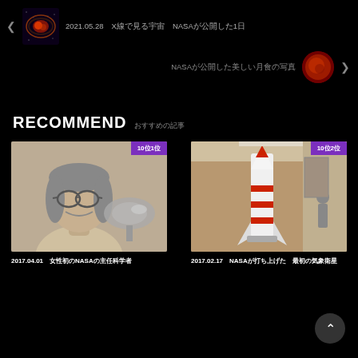[Figure (screenshot): Navigation row with thumbnail of nebula image and Japanese text title starting with 2021.05.28]
[Figure (screenshot): Right navigation with blood moon thumbnail and Japanese text about NASA]
RECOMMEND　おすすめの記事
[Figure (photo): Black and white photo of a woman with glasses smiling, with a satellite model in background. Badge: 10位1位]
2017.04.01　女性初のNASAの主任科学者
[Figure (photo): Color photo of a rocket model in a building interior. Badge: 10位2位]
2017.02.17　NASAが打ち上げた　最初の気象衛星